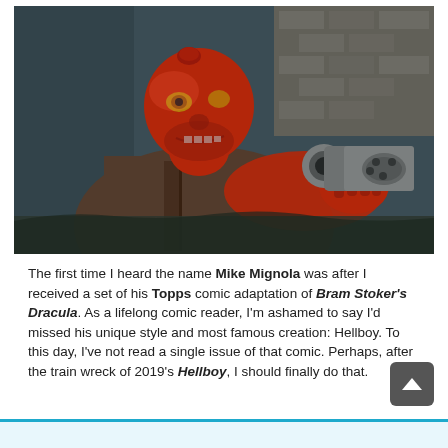[Figure (photo): Movie still from Hellboy (2004) showing the character Hellboy, a red-skinned demon with a filed-down horn on his forehead, wearing a brown trench coat and pointing a large revolver toward the camera. He is grimacing and the background is a dark, atmospheric industrial setting.]
The first time I heard the name Mike Mignola was after I received a set of his Topps comic adaptation of Bram Stoker's Dracula. As a lifelong comic reader, I'm ashamed to say I'd missed his unique style and most famous creation: Hellboy. To this day, I've not read a single issue of that comic. Perhaps, after the train wreck of 2019's Hellboy, I should finally do that.